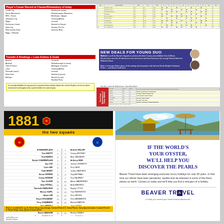NEW DEALS FOR YOUNG DUO
Watford 1881 - the two squads
[Figure (table-as-image): First Team Appearances and Goals 2004/05 statistics grid]
1881
the two squads
| Name | No. | Name |
| --- | --- | --- |
| Al BANAMFLASH | 1 | Andrew MILLER |
| Toni AMOTT | 2 | Tommy MOONEY |
| Paul BANKS | 3 | Marc VAN AKEN |
| Brynle CHAMBERLAIN | 4 | Anthony MAN |
| Jay COX | 5 | Jackson ROBERTS |
| Colin HAY | 6 | Chris REID |
| Todd HENRY | 7 | Jordan HADFIELD |
| Simon MORRIS | 8 | Clay ASPINALL |
| Jimmy MCBAIN | 9 | Guy DAUBNEY |
| Tom OLIVER | 10 | Adrian MAWHINNEY |
| Amy PITFALL | 11 | Andy MAXWELL |
| Rochelle RAWLINGS | 12 | Hayley LITTLE |
| Marcus KAPIL | 13 | Tina SHERWOOD |
| Adam LEE | 14 | Chris BROKS |
| Karyn HOLDAWAY | 15 | Cheo ABRAMSON |
| Terry CHAMBERS | 16 | Michael MARTIN |
| Gary BENTLY | 17 | Jenny DODD |
| Lisa FIELD | 18 | Ben MCLAFFETY |
| Darren MASSON | 19 | Richard GRAYS |
| Antony MCDONALD | 20 | John BROOKS |
| Nick NORVILLE | 21 | Ian BELMONT |
| Marcus BLOOM | 22 | Eric HANN |
| Jo BUSH | 23 | Glen HASANOVIC |
| Johnny NOLEN | 24 | Simon NORRIS |
| Ly BIGMAY | 25 | Riona KAL |
| Latitia BROWN | 26 | Alison MUD |
| Lim HEALEY | 27 | Jay COOPER |
|  | 28 | John BELL |
IF THE WORLD'S YOUR OYSTER, WE'LL HELP YOU DISCOVER THE PEARLS
Beaver Travel have been arranging exclusive luxury holidays for over 40 years. In that time our clients have been pampered, spoiled and de-stressed in some of the finest places on earth. Contact us today and we'll help you find a real gem of a holiday.
BEAVER TRAVEL